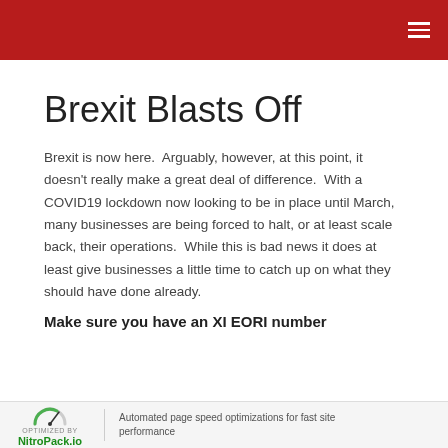Brexit Blasts Off
Brexit is now here.  Arguably, however, at this point, it doesn't really make a great deal of difference.  With a COVID19 lockdown now looking to be in place until March, many businesses are being forced to halt, or at least scale back, their operations.  While this is bad news it does at least give businesses a little time to catch up on what they should have done already.
Make sure you have an XI EORI number
Automated page speed optimizations for fast site performance